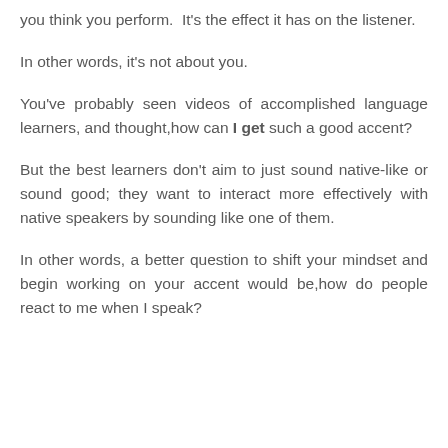you think you perform. It's the effect it has on the listener.
In other words, it's not about you.
You've probably seen videos of accomplished language learners, and thought,how can I get such a good accent?
But the best learners don't aim to just sound native-like or sound good; they want to interact more effectively with native speakers by sounding like one of them.
In other words, a better question to shift your mindset and begin working on your accent would be,how do people react to me when I speak?